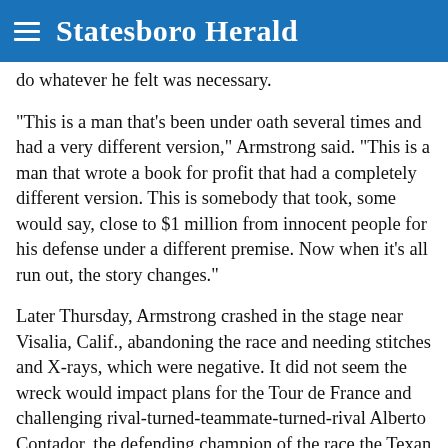Statesboro Herald
do whatever he felt was necessary.
"This is a man that's been under oath several times and had a very different version," Armstrong said. "This is a man that wrote a book for profit that had a completely different version. This is somebody that took, some would say, close to $1 million from innocent people for his defense under a different premise. Now when it's all run out, the story changes."
Later Thursday, Armstrong crashed in the stage near Visalia, Calif., abandoning the race and needing stitches and X-rays, which were negative. It did not seem the wreck would impact plans for the Tour de France and challenging rival-turned-teammate-turned-rival Alberto Contador, the defending champion of the race the Texan once dominated with relative ease.